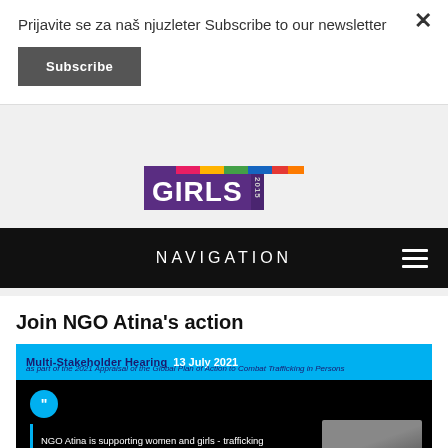Prijavite se za naš njuzleter Subscribe to our newsletter
Subscribe
[Figure (logo): Girls 2015 logo with colored horizontal bar and purple GIRLS text with 2015 year indicator]
NAVIGATION
Join NGO Atina's action
[Figure (screenshot): Multi-Stakeholder Hearing 13 July 2021 as part of the 2021 Appraisal of the Global Plan of Action to Combat Trafficking in Persons. NGO Atina is supporting women and girls - trafficking survivors in Serbia to take the initiative, claim their rights, and become activists who will... with a portrait photo of a person on the right.]